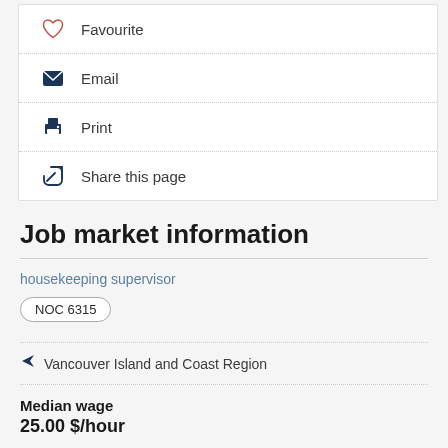Favourite
Email
Print
Share this page
Job market information
housekeeping supervisor
NOC 6315
Vancouver Island and Coast Region
Median wage
25.00 $/hour
Explore this career